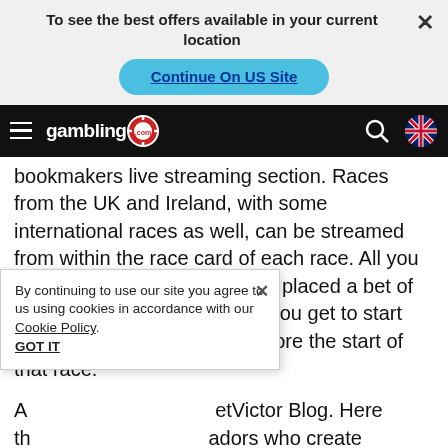To see the best offers available in your current location
Continue On US Site
[Figure (logo): gambling.com logo with casino chip on black navigation bar, search icon, and UK flag]
bookmakers live streaming section. Races from the UK and Ireland, with some international races as well, can be streamed from within the race card of each race. All you need to access this is to have placed a bet of £1 or more on said race and you get to start watching about 5 minutes before the start of that race.
A... BetVictor Blog. Here th... adors who create q... ole of this is M... a couple of times a week as part of his role. You get around 10 articles per
By continuing to use our site you agree to us using cookies in accordance with our Cookie Policy. GOT IT